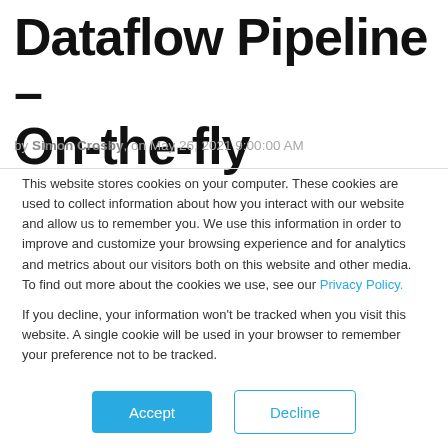Dataflow Pipeline – On-the-fly
by Simon Crosby, on May 26, 2021 9:00:00 AM
This website stores cookies on your computer. These cookies are used to collect information about how you interact with our website and allow us to remember you. We use this information in order to improve and customize your browsing experience and for analytics and metrics about our visitors both on this website and other media. To find out more about the cookies we use, see our Privacy Policy.
If you decline, your information won't be tracked when you visit this website. A single cookie will be used in your browser to remember your preference not to be tracked.
Accept  Decline